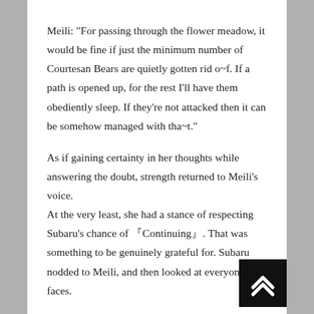Meili: "For passing through the flower meadow, it would be fine if just the minimum number of Courtesan Bears are quietly gotten rid o~f. If a path is opened up, for the rest I'll have them obediently sleep. If they're not attacked then it can be somehow managed with tha~t."
As if gaining certainty in her thoughts while answering the doubt, strength returned to Meili's voice.
At the very least, she had a stance of respecting Subaru's chance of 『Continuing』. That was something to be genuinely grateful for. Subaru nodded to Meili, and then looked at everyone's faces.
[Figure (other): Navigation button: black square with a white double-chevron up arrow icon in the bottom-right corner of the page.]